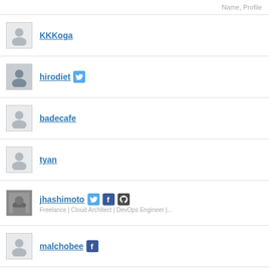Name, Profile
KKKoga
hirodiet
badecafe
tyan
jhashimoto — Freelance | Cloud Architect | DevOps Engineer |...
malchobee
nintoq
Tomy0455